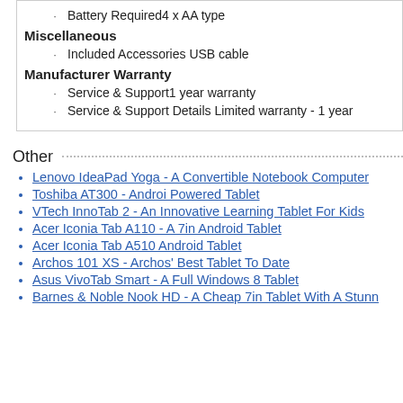Battery Required4 x AA type
Miscellaneous
Included Accessories USB cable
Manufacturer Warranty
Service & Support1 year warranty
Service & Support Details Limited warranty - 1 year
Other
Lenovo IdeaPad Yoga - A Convertible Notebook Computer
Toshiba AT300 - Androi Powered Tablet
VTech InnoTab 2 - An Innovative Learning Tablet For Kids
Acer Iconia Tab A110 - A 7in Android Tablet
Acer Iconia Tab A510 Android Tablet
Archos 101 XS - Archos' Best Tablet To Date
Asus VivoTab Smart - A Full Windows 8 Tablet
Barnes & Noble Nook HD - A Cheap 7in Tablet With A Stunn